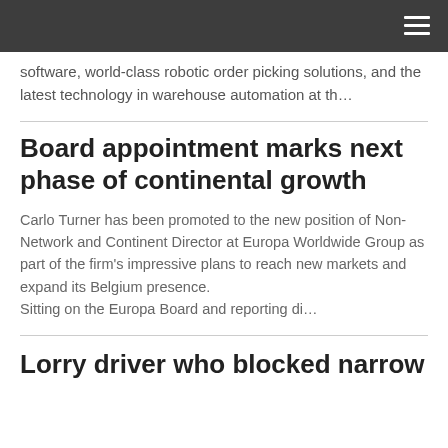software, world-class robotic order picking solutions, and the latest technology in warehouse automation at th…
Board appointment marks next phase of continental growth
Carlo Turner has been promoted to the new position of Non-Network and Continent Director at Europa Worldwide Group as part of the firm's impressive plans to reach new markets and expand its Belgium presence.
Sitting on the Europa Board and reporting di…
Lorry driver who blocked narrow